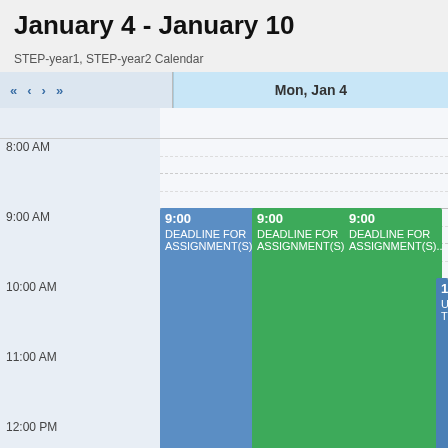January 4 - January 10
STEP-year1, STEP-year2 Calendar
[Figure (screenshot): Weekly calendar view showing Mon, Jan 4 with navigation arrows. Three blue/green event blocks at 9:00 labeled DEADLINE FOR ASSIGNMENT(S)... and one blue block at 10:00 labeled UNDERSTANDING TEACHING. Time slots from 8:00 AM to 1:00 PM visible.]